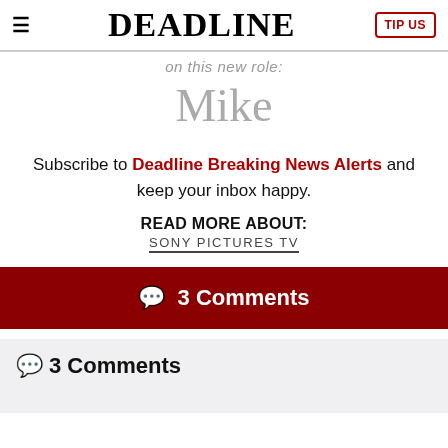≡  DEADLINE  TIP US
on this new role:
Mike
Subscribe to Deadline Breaking News Alerts and keep your inbox happy.
READ MORE ABOUT:
SONY PICTURES TV
💬 3 Comments
💬 3 Comments